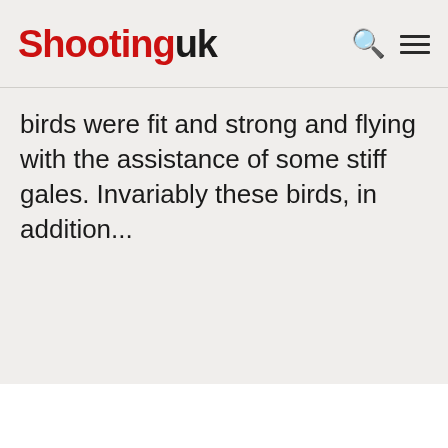Shootinguk
birds were fit and strong and flying with the assistance of some stiff gales. Invariably these birds, in addition...